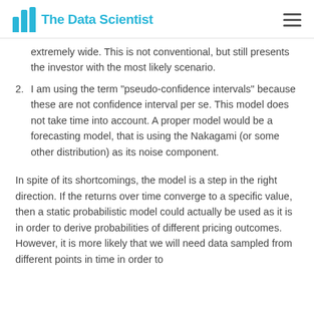The Data Scientist
extremely wide. This is not conventional, but still presents the investor with the most likely scenario.
2. I am using the term "pseudo-confidence intervals" because these are not confidence interval per se. This model does not take time into account. A proper model would be a forecasting model, that is using the Nakagami (or some other distribution) as its noise component.
In spite of its shortcomings, the model is a step in the right direction. If the returns over time converge to a specific value, then a static probabilistic model could actually be used as it is in order to derive probabilities of different pricing outcomes. However, it is more likely that we will need data sampled from different points in time in order to